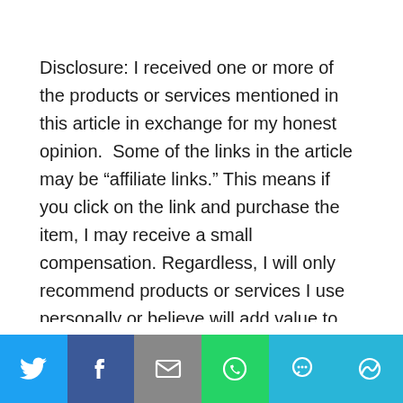Disclosure: I received one or more of the products or services mentioned in this article in exchange for my honest opinion.  Some of the links in the article may be “affiliate links.” This means if you click on the link and purchase the item, I may receive a small compensation. Regardless, I will only recommend products or services I use personally or believe will add value to my readers. I am disclosing this in accordance with the Federal Trade Commission’s 16 CFR, Part 255: “Guides Concerning the Use of Endorsements and Testimonials in Advertising.”